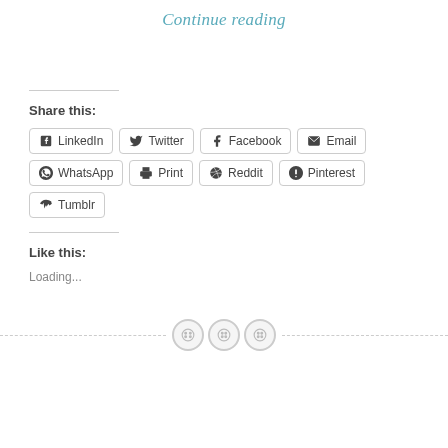Continue reading
Share this:
LinkedIn
Twitter
Facebook
Email
WhatsApp
Print
Reddit
Pinterest
Tumblr
Like this:
Loading...